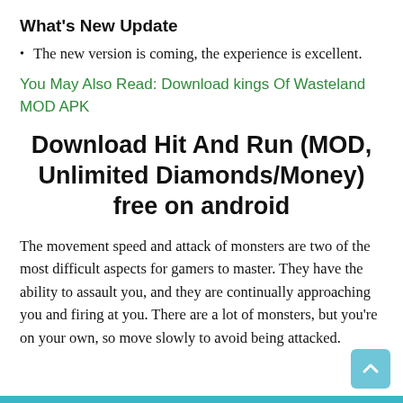What's New Update
The new version is coming, the experience is excellent.
You May Also Read: Download kings Of Wasteland MOD APK
Download Hit And Run (MOD, Unlimited Diamonds/Money) free on android
The movement speed and attack of monsters are two of the most difficult aspects for gamers to master. They have the ability to assault you, and they are continually approaching you and firing at you. There are a lot of monsters, but you're on your own, so move slowly to avoid being attacked.